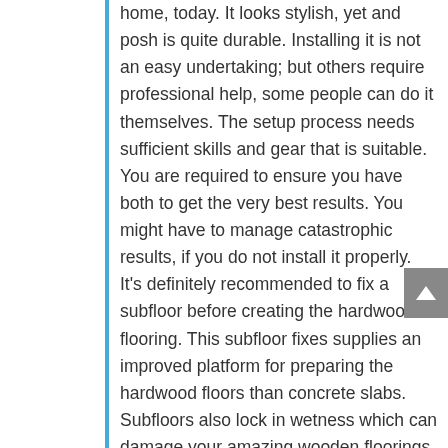home, today. It looks stylish, yet and posh is quite durable. Installing it is not an easy undertaking; but others require professional help, some people can do it themselves. The setup process needs sufficient skills and gear that is suitable. You are required to ensure you have both to get the very best results. You might have to manage catastrophic results, if you do not install it properly.
It's definitely recommended to fix a subfloor before creating the hardwood flooring. This subfloor fixes supplies an improved platform for preparing the hardwood floors than concrete slabs. Subfloors also lock in wetness which can damage your amazing wooden floorings. In places that have a lot of moisture, like toilets, it's better to avoid solid hardwood floors and set up laminate hardwood flooring. This laminate flooring isn't a genuine wood floor, but looks like